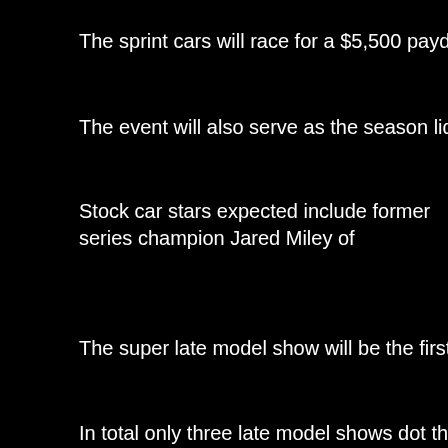The sprint cars will race for a $5,500 payday in a 25-lap main event while
The event will also serve as the season lidlifter for the 26-date, 2022 ULM
Stock car stars expected include former series champion Jared Miley of Mercersburg, Rick Eckert of York, Mason Zeigler of Chalk Hill and many
The super late model show will be the first of two at the track in March wi
In total only three late model shows dot the 2022 Williams Grove schedu
Last year at the track late model wins went to ULMS champion Max Blair
Gary Stuhler is the leading active driver on the all-time Williams Grove su events.
The first race of the year coming under the lights will launch the sprint ca
A great field of sprinters should be on hand featuring defending track cha Lucas Wolfe.
Dillsburg's Anthony Macri will be gunning for his first opening day win at t
And Washington teenage transplant Devon Borden will be embarking on